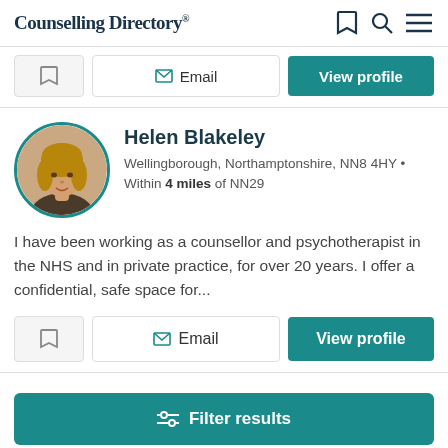Counselling Directory
Email  View profile
Helen Blakeley
Wellingborough, Northamptonshire, NN8 4HY • Within 4 miles of NN29
I have been working as a counsellor and psychotherapist in the NHS and in private practice, for over 20 years. I offer a confidential, safe space for...
Email  View profile
Filter results